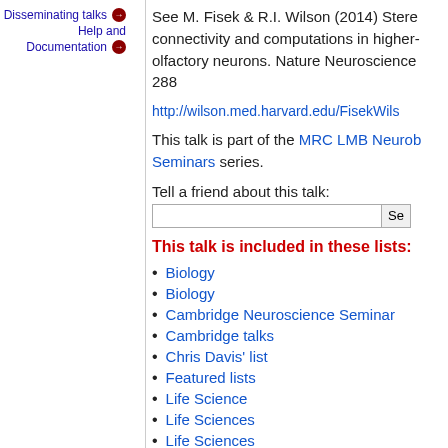Disseminating talks
Help and Documentation
See M. Fisek & R.I. Wilson (2014) Stereotyped connectivity and computations in higher-order olfactory neurons. Nature Neuroscience 288
http://wilson.med.harvard.edu/FisekWils...
This talk is part of the MRC LMB Neurobiology Seminars series.
Tell a friend about this talk:
This talk is included in these lists:
Biology
Biology
Cambridge Neuroscience Seminars
Cambridge talks
Chris Davis' list
Featured lists
Life Science
Life Sciences
Life Sciences
ME Seminar